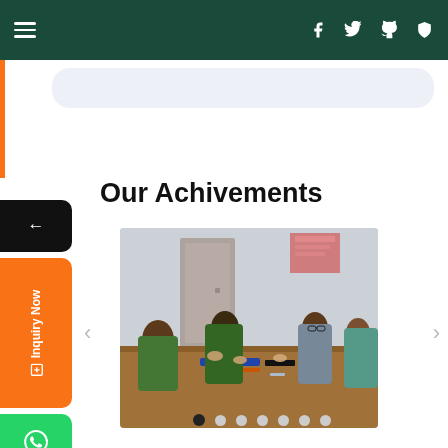Navigation bar with hamburger menu and social icons (f, twitter, github, shield)
Our Achivements
[Figure (photo): Students sitting around a table engaged in a classroom activity, working with materials on the table. Indoor school setting with a door and red poster visible in the background.]
Carousel dots navigation: 7 dots, first dot active